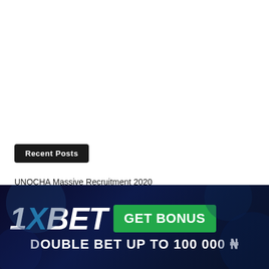Recent Posts
UNOCHA Massive Recruitment 2020
Jumia Nigeria Recruitment for Accounts Receivable Manager
Malaria Consortium Recruitment for Accountant
[Figure (infographic): 1XBET advertisement banner: '1XBET GET BONUS DOUBLE BET UP TO 100 000 ₦' on dark blue background with green button]